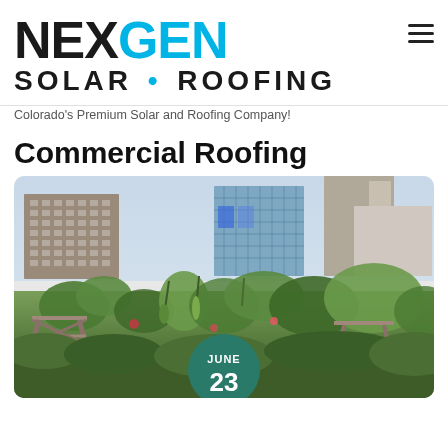[Figure (logo): NexGen Solar Roofing logo with 'NEX' in black and 'GEN' in cyan/blue, with 'SOLAR • ROOFING' below in black bold letters]
Colorado's Premium Solar and Roofing Company!
Commercial Roofing
[Figure (photo): Rooftop garden with lush green plants and flowers, wooden benches/tables, white parapet wall, and urban city buildings with glass facades in the background. A date badge overlay shows 'JUNE 23' in a dark teal circle.]